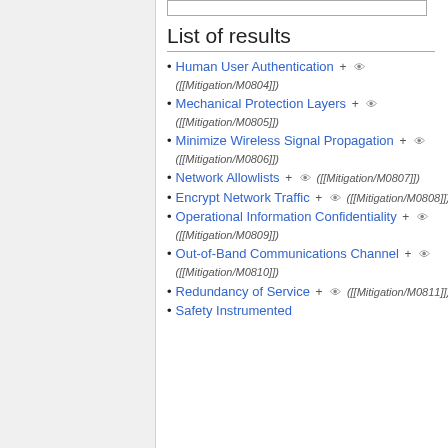List of results
Human User Authentication + 👁 ([[Mitigation/M0804]])
Mechanical Protection Layers + 👁 ([[Mitigation/M0805]])
Minimize Wireless Signal Propagation + 👁 ([[Mitigation/M0806]])
Network Allowlists + 👁 ([[Mitigation/M0807]])
Encrypt Network Traffic + 👁 ([[Mitigation/M0808]])
Operational Information Confidentiality + 👁 ([[Mitigation/M0809]])
Out-of-Band Communications Channel + 👁 ([[Mitigation/M0810]])
Redundancy of Service + 👁 ([[Mitigation/M0811]])
Safety Instrumented…